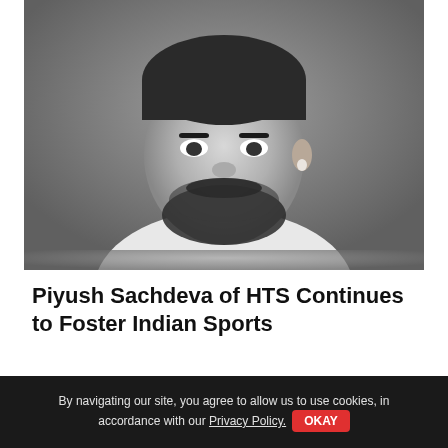[Figure (photo): Black and white portrait photograph of a bearded man wearing a white t-shirt, looking slightly to the side, studio-style background]
Piyush Sachdeva of HTS Continues to Foster Indian Sports
Our expertise lies in making the culture of sports more advanced and developed so that it gets recognised, worldwide cited, Piyush Sachdeva, Founder & CEO High Times...
By navigating our site, you agree to allow us to use cookies, in accordance with our Privacy Policy. OKAY